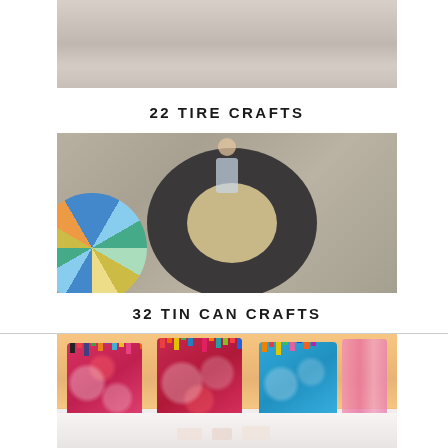[Figure (photo): Top portion of a photo showing the exterior of a building with beige/tan siding]
22 TIRE CRAFTS
[Figure (photo): A toddler sitting inside a large black tire filled with sand, playing. Next to it is a colorfully painted tire with swirling patterns.]
32 TIN CAN CRAFTS
[Figure (photo): Several tin cans decorated with floral fabric/paper, filled with colorful markers and pens, arranged on a white surface.]